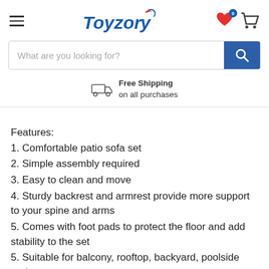Toyzory — navigation header with hamburger menu, logo, heart icon with badge 0, and cart icon
What are you looking for?
Free Shipping on all purchases
Features:
1. Comfortable patio sofa set
2. Simple assembly required
3. Easy to clean and move
4. Sturdy backrest and armrest provide more support to your spine and arms
5. Comes with foot pads to protect the floor and add stability to the set
5. Suitable for balcony, rooftop, backyard, poolside and